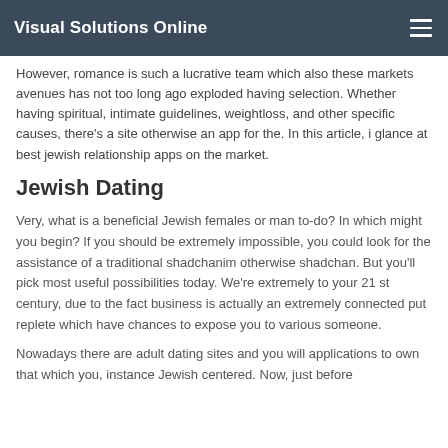Visual Solutions Online
However, romance is such a lucrative team which also these markets avenues has not too long ago exploded having selection. Whether having spiritual, intimate guidelines, weightloss, and other specific causes, there’s a site otherwise an app for the. In this article, i glance at best jewish relationship apps on the market.
Jewish Dating
Very, what is a beneficial Jewish females or man to-do? In which might you begin? If you should be extremely impossible, you could look for the assistance of a traditional shadchanim otherwise shadchan. But you’ll pick most useful possibilities today. We’re extremely to your 21 st century, due to the fact business is actually an extremely connected put replete which have chances to expose you to various someone.
Nowadays there are adult dating sites and you will applications to own that which you, instance Jewish centered. Now, just before